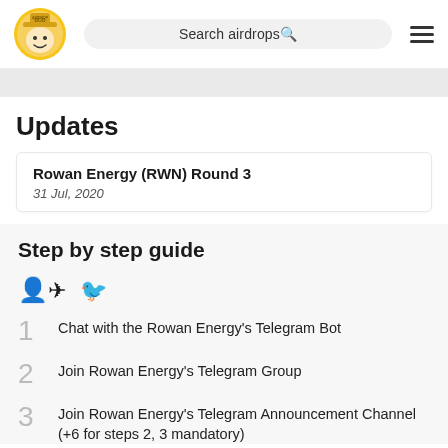Airdrop Bob | Search airdrops
Updates
Rowan Energy (RWN) Round 3
31 Jul, 2020
Step by step guide
1. Chat with the Rowan Energy's Telegram Bot
2. Join Rowan Energy's Telegram Group
3. Join Rowan Energy's Telegram Announcement Channel (+6 for steps 2, 3 mandatory)